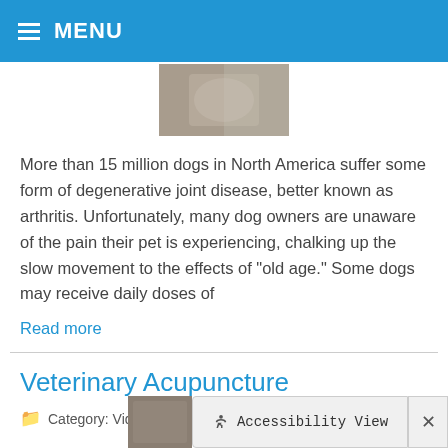MENU
[Figure (photo): Partial view of a dog or animal, cropped thumbnail image]
More than 15 million dogs in North America suffer some form of degenerative joint disease, better known as arthritis. Unfortunately, many dog owners are unaware of the pain their pet is experiencing, chalking up the slow movement to the effects of "old age." Some dogs may receive daily doses of
Read more
Veterinary Acupuncture
Category: Video Newsroom, Technology and Science